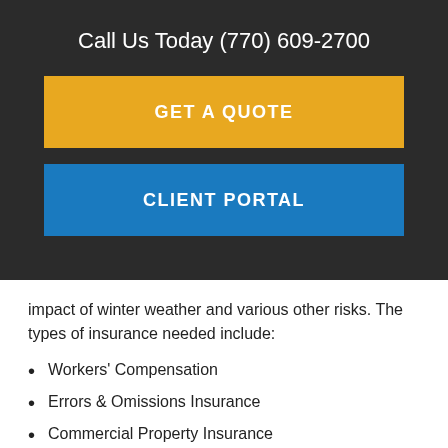Call Us Today (770) 609-2700
[Figure (other): GET A QUOTE button (amber/gold colored call-to-action button)]
[Figure (other): CLIENT PORTAL button (blue colored call-to-action button)]
impact of winter weather and various other risks. The types of insurance needed include:
Workers' Compensation
Errors & Omissions Insurance
Commercial Property Insurance
Business Interruption Insurance